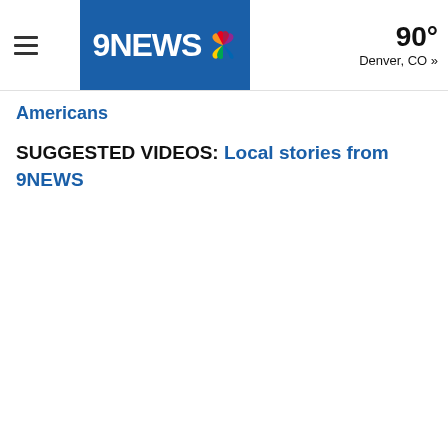9NEWS | 90° Denver, CO »
Americans
SUGGESTED VIDEOS: Local stories from 9NEWS